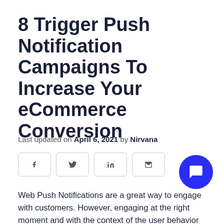8 Trigger Push Notification Campaigns To Increase Your eCommerce Conversion
Last updated on April 6, 2021 by Nirvana
[Figure (other): Social share buttons: Facebook, Twitter, LinkedIn, Email]
[Figure (other): Blue circular chat support widget]
Web Push Notifications are a great way to engage with customers. However, engaging at the right moment and with the context of the user behavior on your site is critical to success. In this article, we will discuss the most